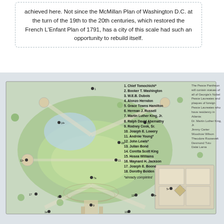achieved here. Not since the McMillan Plan of Washington D.C. at the turn of the 19th to the 20th centuries, which restored the French L'Enfant Plan of 1791, has a city of this scale had such an opportunity to rebuild itself.
[Figure (illustration): Aerial architectural plan/rendering of a large park design featuring circular green spaces, a central oval lawn, pathways, trees, and a building complex. Numbered markers (1-18) indicate locations of statues/features throughout the site.]
1. Chief Tomochichi*
2. Booker T. Washington
3. W.E.B. Dubois
4. Alonzo Herndon
5. Grace Towns Hamilton
6. Herman J. Russell
7. Martin Luther King, Jr.
8. Ralph David Abernathy
9. Rodney Cook, Sr.
10. Joseph E. Lowery
11. Andrew Young*
12. John Lewis*
13. Julian Bond
14. Coretta Scott King
15. Hosea Williams
16. Maynard H. Jackson
17. Joseph E. Boone
18. Dorothy Bolden
*already completed
The Peace Pantheon will contain statues of all of Georgia's Nobel Peace Laureates and plaques of foreign Peace Laureates who have residency in Atlanta: Dr. Martin Luther King, Jr. Jimmy Carter Woodrow Wilson Theodore Roosevelt Desmond Tutu Dalai Lama